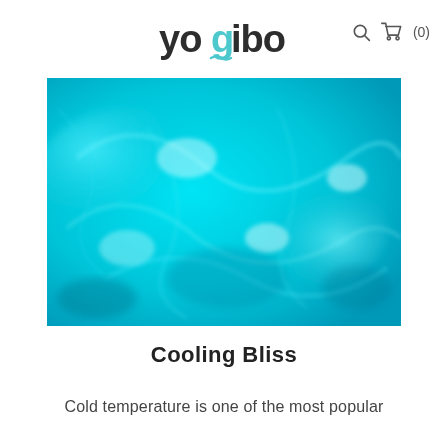yogibo  🔍  🛒 (0)
[Figure (photo): Close-up photo of a vivid cyan/turquoise blue gel or water-like texture with swirling abstract patterns and light reflections.]
Cooling Bliss
Cold temperature is one of the most popular